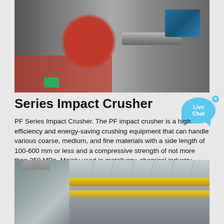[Figure (photo): Industrial impact crusher machine with red flywheel and blue motor, photographed in a factory setting]
Series Impact Crusher
PF Series Impact Crusher. The PF impact crusher is a high efficiency and energy-saving crushing equipment that can handle various coarse, medium, and fine materials with a side length of 100-600 mm or less and a compressive strength of not more than 350 MPa. Mainly used in metallurgy, chemical industry, hydropower engineering, and other industries.
[Figure (photo): Industrial crane with yellow overhead beam inside a large factory warehouse]